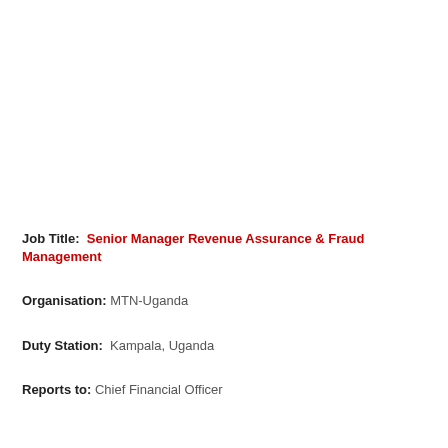Job Title: Senior Manager Revenue Assurance & Fraud Management
Organisation: MTN-Uganda
Duty Station: Kampala, Uganda
Reports to: Chief Financial Officer